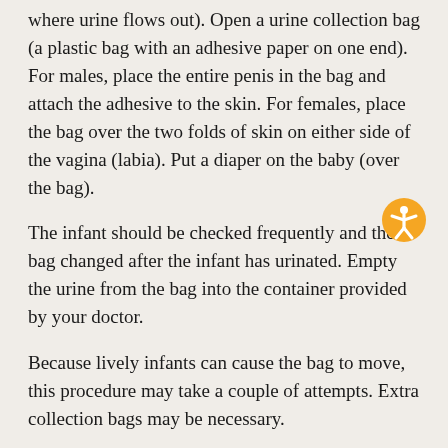where urine flows out). Open a urine collection bag (a plastic bag with an adhesive paper on one end). For males, place the entire penis in the bag and attach the adhesive to the skin. For females, place the bag over the two folds of skin on either side of the vagina (labia). Put a diaper on the baby (over the bag).
The infant should be checked frequently and the bag changed after the infant has urinated. Empty the urine from the bag into the container provided by your doctor.
[Figure (illustration): Accessibility icon: orange circle with white human figure with arms and legs outstretched]
Because lively infants can cause the bag to move, this procedure may take a couple of attempts. Extra collection bags may be necessary.
When finished, label and return the container as instructed.
Catecholamines can be also be measured with a blood sample.